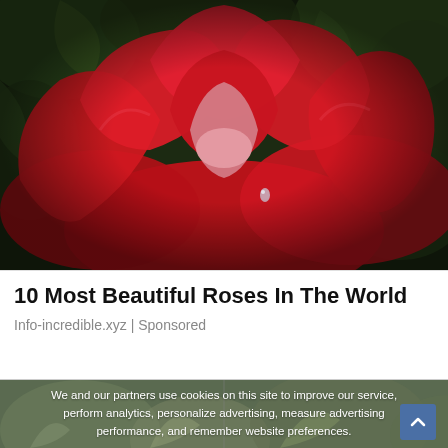[Figure (photo): Close-up photograph of a large red rose with water droplets on petals, with green foliage in the background]
10 Most Beautiful Roses In The World
Info-incredible.xyz | Sponsored
[Figure (photo): Muted garden/plant background image partially visible behind cookie consent overlay]
We and our partners use cookies on this site to improve our service, perform analytics, personalize advertising, measure advertising performance, and remember website preferences.